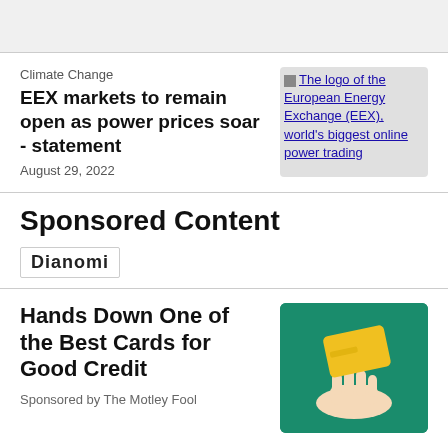Climate Change
EEX markets to remain open as power prices soar - statement
August 29, 2022
[Figure (photo): The logo of the European Energy Exchange (EEX), world's biggest online power trading exchange]
Sponsored Content
Dianomi
Hands Down One of the Best Cards for Good Credit
Sponsored by The Motley Fool
[Figure (photo): A hand holding a yellow credit card on a teal/green background]
Feedback